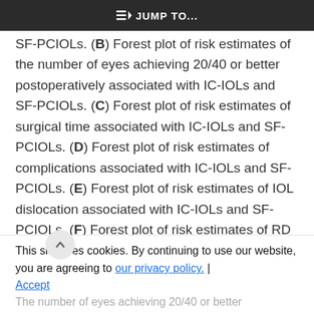JUMP TO...
SF-PCIOLs. (B) Forest plot of risk estimates of the number of eyes achieving 20/40 or better postoperatively associated with IC-IOLs and SF-PCIOLs. (C) Forest plot of risk estimates of surgical time associated with IC-IOLs and SF-PCIOLs. (D) Forest plot of risk estimates of complications associated with IC-IOLs and SF-PCIOLs. (E) Forest plot of risk estimates of IOL dislocation associated with IC-IOLs and SF-PCIOLs. (F) Forest plot of risk estimates of RD associated with IC-IOLs and SF-PCIOLs. (G) Forest plot of risk estimates of CME
This site uses cookies. By continuing to use our website, you are agreeing to our privacy policy. Accept
The number of eyes achieving 20/40 or better